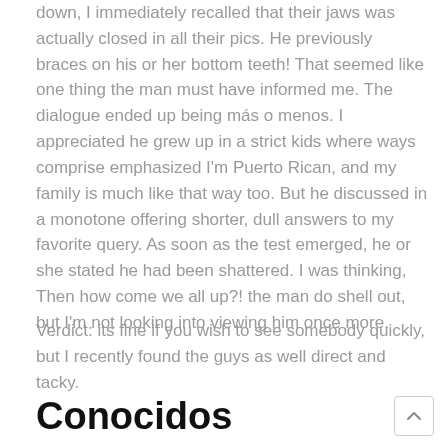down, I immediately recalled that their jaws was actually closed in all their pics. He previously braces on his or her bottom teeth! That seemed like one thing the man must have informed me. The dialogue ended up being más o menos. I appreciated he grew up in a strict kids where ways comprise emphasized I'm Puerto Rican, and my family is much like that way too. But he discussed in a monotone offering shorter, dull answers to my favorite query. As soon as the test emerged, he or she stated he had been shattered. I was thinking, Then how come we all up?! the man do shell out, but I'm not looking into viewing him once more.
Verdict: its fine if you wish to see somebody quickly, but I recently found the guys as well direct and tacky.
Conocidos